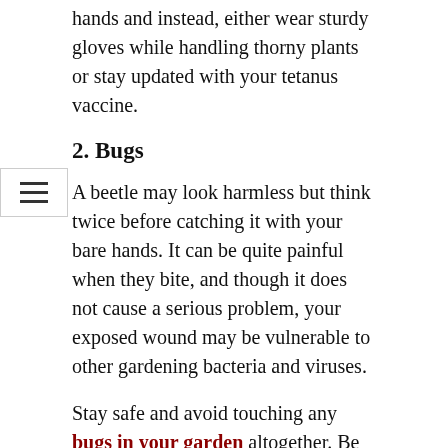hands and instead, either wear sturdy gloves while handling thorny plants or stay updated with your tetanus vaccine.
2. Bugs
A beetle may look harmless but think twice before catching it with your bare hands. It can be quite painful when they bite, and though it does not cause a serious problem, your exposed wound may be vulnerable to other gardening bacteria and viruses.
Stay safe and avoid touching any bugs in your garden altogether. Be particularly wary of ticks, which live in woody and grassy areas. Their bites can cause Lyme disease, an illness that causes fever, chills, headaches, and muscle aches. You don't even need to touch an infected tick to get